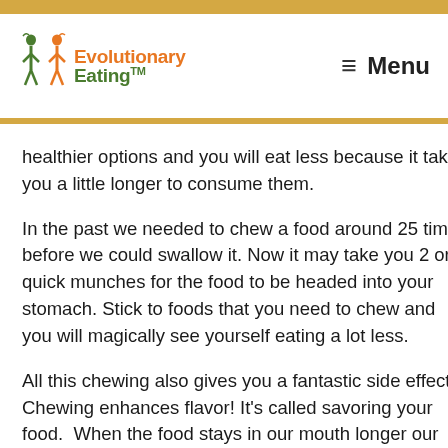Evolutionary Eating™  Menu
healthier options and you will eat less because it takes you a little longer to consume them.
In the past we needed to chew a food around 25 times before we could swallow it. Now it may take you 2 or 3 quick munches for the food to be headed into your stomach. Stick to foods that you need to chew and you will magically see yourself eating a lot less.
All this chewing also gives you a fantastic side effect.  Chewing enhances flavor! It's called savoring your food.  When the food stays in our mouth longer our sense of smell really has a chance to kick in and provide an extra flavor...